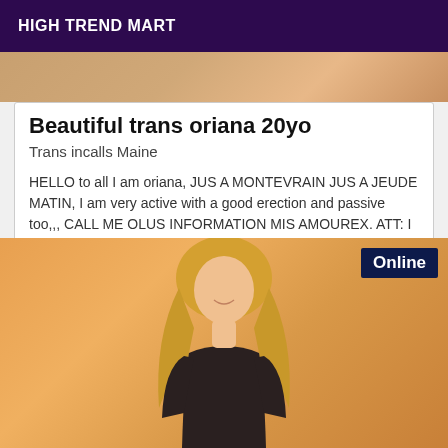HIGH TREND MART
[Figure (photo): Top partial photo with warm orange/brown tones]
Beautiful trans oriana 20yo
Trans incalls Maine
HELLO to all I am oriana, JUS A MONTEVRAIN JUS A JEUDE MATIN, I am very active with a good erection and passive too,,, CALL ME OLUS INFORMATION MIS AMOUREX. ATT: I WORK NOT FOR 50* AND NO ANSWER NO THANKS KISSES.
[Figure (photo): Photo of blonde person in dark outfit against orange/warm background with Online badge]